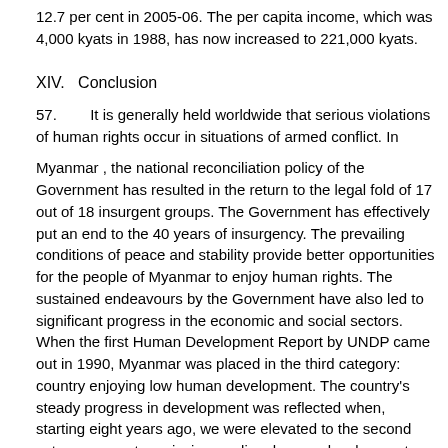12.7 per cent in 2005-06. The per capita income, which was 4,000 kyats in 1988, has now increased to 221,000 kyats.
XIV.   Conclusion
57.        It is generally held worldwide that serious violations of human rights occur in situations of armed conflict. In
Myanmar , the national reconciliation policy of the Government has resulted in the return to the legal fold of 17 out of 18 insurgent groups. The Government has effectively put an end to the 40 years of insurgency. The prevailing conditions of peace and stability provide better opportunities for the people of Myanmar to enjoy human rights. The sustained endeavours by the Government have also led to significant progress in the economic and social sectors. When the first Human Development Report by UNDP came out in 1990, Myanmar was placed in the third category: country enjoying low human development. The country's steady progress in development was reflected when, starting eight years ago, we were elevated to the second category: country enjoying medium human development. The report also showed that the percentage of the undernourished population has declined from 10 per cent to 6 per cent. The